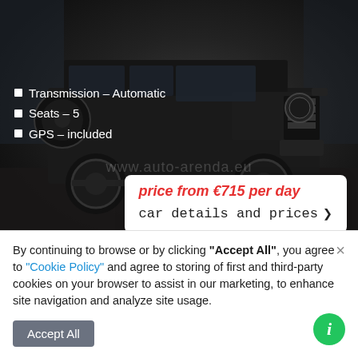[Figure (photo): Black Mercedes-Benz G-Class SUV photographed in a dealership showroom with glass windows in background. Watermark text 'www.auto-arenda.eu' visible on the image.]
Transmission – Automatic
Seats – 5
GPS – included
price from €715 per day
car details and prices ❯
Hire car in the Milano Linate airport (LIN)
Mercedes-Benz G-Class G500 Exclusive
By continuing to browse or by clicking "Accept All", you agree to "Cookie Policy" and agree to storing of first and third-party cookies on your browser to assist in our marketing, to enhance site navigation and analyze site usage.
Accept All